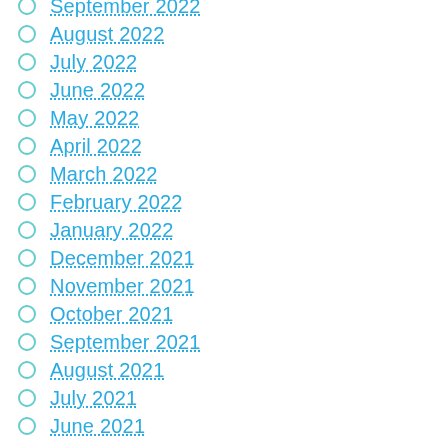September 2022
August 2022
July 2022
June 2022
May 2022
April 2022
March 2022
February 2022
January 2022
December 2021
November 2021
October 2021
September 2021
August 2021
July 2021
June 2021